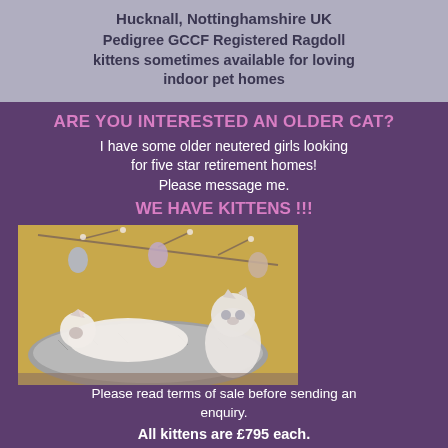Hucknall, Nottinghamshire UK
Pedigree GCCF Registered Ragdoll kittens sometimes available for loving indoor pet homes
ARE YOU INTERESTED AN OLDER CAT?
I have some older neutered girls looking for five star retirement homes! Please message me.
WE HAVE KITTENS !!!
[Figure (photo): Two Ragdoll kittens lounging on a furry grey blanket/hammock. Background has a yellow wall with decorative branch and Easter egg ornaments. One kitten is lying stretched out in front, the other sitting upright behind.]
Please read terms of sale before sending an enquiry.
All kittens are £795 each.
If I decide to neuter before leaving for their